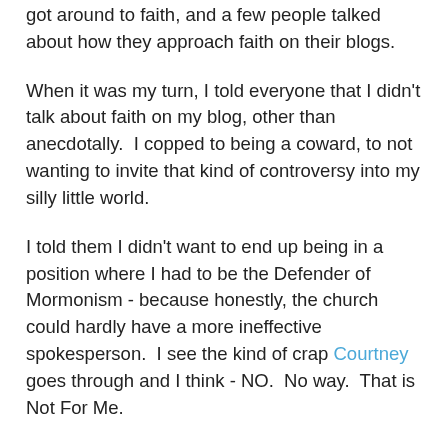got around to faith, and a few people talked about how they approach faith on their blogs.
When it was my turn, I told everyone that I didn't talk about faith on my blog, other than anecdotally.  I copped to being a coward, to not wanting to invite that kind of controversy into my silly little world.
I told them I didn't want to end up being in a position where I had to be the Defender of Mormonism - because honestly, the church could hardly have a more ineffective spokesperson.  I see the kind of crap Courtney goes through and I think - NO.  No way.  That is Not For Me.
(I'm courageous, what can I say.)
All of those things are true, but not COMPLETELY true.  I left a lot of stuff out.
The truth is, I don't talk about my faith because I have so very little of it to go around, and what I have I guard jealously - I don't usually put it out on display for people to take